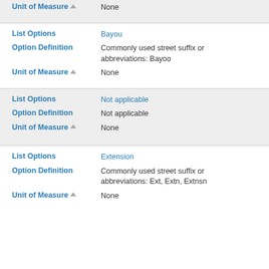Unit of Measure: None
List Options: Bayou
Option Definition: Commonly used street suffix or abbreviations: Bayoo
Unit of Measure: None
List Options: Not applicable
Option Definition: Not applicable
Unit of Measure: None
List Options: Extension
Option Definition: Commonly used street suffix or abbreviations: Ext, Extn, Extnsn
Unit of Measure: None